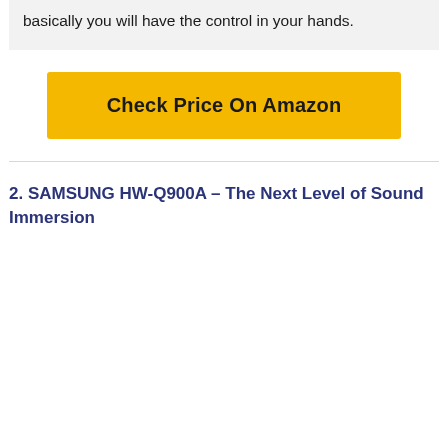basically you will have the control in your hands.
[Figure (other): Yellow button with bold text 'Check Price On Amazon']
2. SAMSUNG HW-Q900A – The Next Level of Sound Immersion